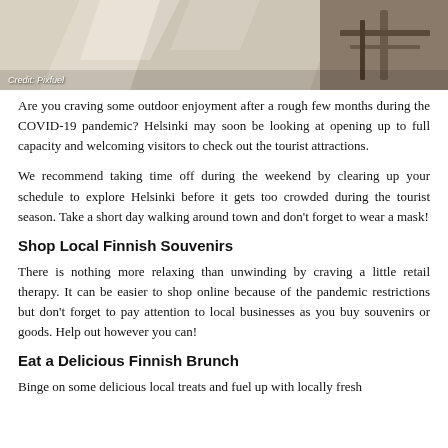[Figure (photo): Outdoor scene, possibly a boat or tent structure, with wooden elements visible. Partially obscured image.]
Credit: Pixfuel
Are you craving some outdoor enjoyment after a rough few months during the COVID-19 pandemic? Helsinki may soon be looking at opening up to full capacity and welcoming visitors to check out the tourist attractions.
We recommend taking time off during the weekend by clearing up your schedule to explore Helsinki before it gets too crowded during the tourist season. Take a short day walking around town and don't forget to wear a mask!
Shop Local Finnish Souvenirs
There is nothing more relaxing than unwinding by craving a little retail therapy. It can be easier to shop online because of the pandemic restrictions but don't forget to pay attention to local businesses as you buy souvenirs or goods. Help out however you can!
Eat a Delicious Finnish Brunch
Binge on some delicious local treats and fuel up with locally fresh